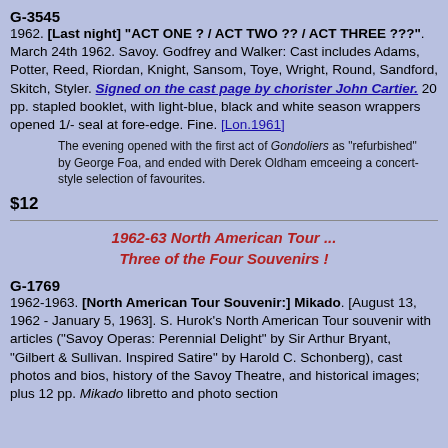G-3545
1962. [Last night] "ACT ONE ? / ACT TWO ?? / ACT THREE ???". March 24th 1962. Savoy. Godfrey and Walker: Cast includes Adams, Potter, Reed, Riordan, Knight, Sansom, Toye, Wright, Round, Sandford, Skitch, Styler. Signed on the cast page by chorister John Cartier. 20 pp. stapled booklet, with light-blue, black and white season wrappers opened 1/- seal at fore-edge. Fine. [Lon.1961]
The evening opened with the first act of Gondoliers as "refurbished" by George Foa, and ended with Derek Oldham emceeing a concert-style selection of favourites.
$12
1962-63 North American Tour ... Three of the Four Souvenirs !
G-1769
1962-1963. [North American Tour Souvenir:] Mikado. [August 13, 1962 - January 5, 1963]. S. Hurok's North American Tour souvenir with articles ("Savoy Operas: Perennial Delight" by Sir Arthur Bryant, "Gilbert & Sullivan. Inspired Satire" by Harold C. Schonberg), cast photos and bios, history of the Savoy Theatre, and historical images; plus 12 pp. Mikado libretto and photo section